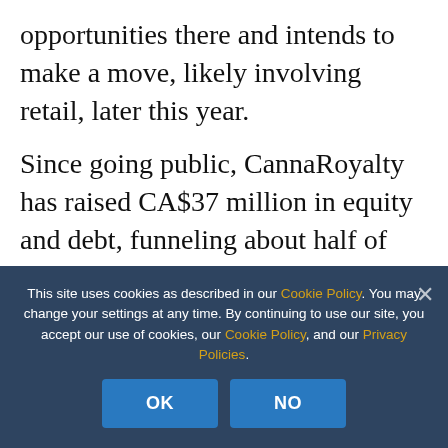opportunities there and intends to make a move, likely involving retail, later this year.
Since going public, CannaRoyalty has raised CA$37 million in equity and debt, funneling about half of that into its California strategy.
Sunniva, which went public last week, is deploying CA$63 million in
This site uses cookies as described in our Cookie Policy. You may change your settings at any time. By continuing to use our site, you accept our use of cookies, our Cookie Policy, and our Privacy Policies.